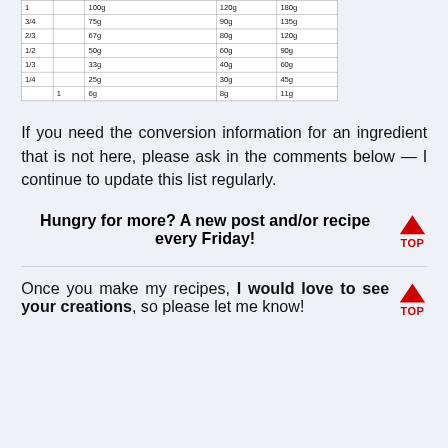|  |  |  |  |  |
| --- | --- | --- | --- | --- |
| 1 |  | 100g | 120g | 180g |
| 3/4 |  | 75g | 90g | 135g |
| 2/3 |  | 67g | 80g | 120g |
| 1/2 |  | 50g | 60g | 90g |
| 1/3 |  | 33g | 40g | 60g |
| 1/4 |  | 25g | 30g | 45g |
|  | 1 | 6g | 8g | 11g |
If you need the conversion information for an ingredient that is not here, please ask in the comments below — I continue to update this list regularly.
Hungry for more? A new post and/or recipe every Friday!
Once you make my recipes, I would love to see your creations, so please let me know!